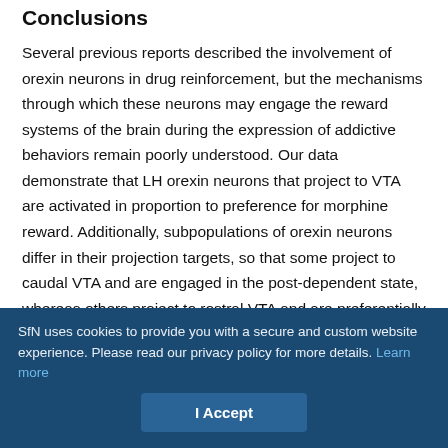Conclusions
Several previous reports described the involvement of orexin neurons in drug reinforcement, but the mechanisms through which these neurons may engage the reward systems of the brain during the expression of addictive behaviors remain poorly understood. Our data demonstrate that LH orexin neurons that project to VTA are activated in proportion to preference for morphine reward. Additionally, subpopulations of orexin neurons differ in their projection targets, so that some project to caudal VTA and are engaged in the post-dependent state, whereas others project to rostral VTA and are preferentially engaged during preference expressed in nondependent subjects. Moreover, some orexin neurons project to LC and do not show a clear relationship with
SfN uses cookies to provide you with a secure and custom website experience. Please read our privacy policy for more details. Learn more
I Accept